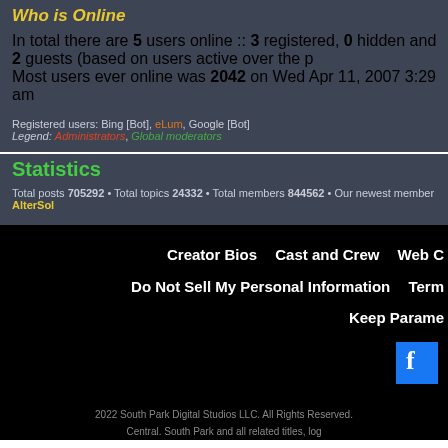Who is Online
In total there are 5 users online :: 3 registered, 0 hidden and 2 guests (based on users active over the p
Most users ever online was 2042 on Wed Apr 11, 2007 3:29 am
Registered users: Bing [Bot], eLum, Google [Bot]
Legend: Administrators, Global moderators
Statistics
Total posts 705292 • Total topics 24332 • Total members 844562 • Our newest member AlterSol
Creator Bios    Cast and Crew    Web C
Do Not Sell My Personal Information    Term
Keep Parame
2022 South Park Digital Studios LLC. All Rights Reserved.
Central. South Park and all related titles, log